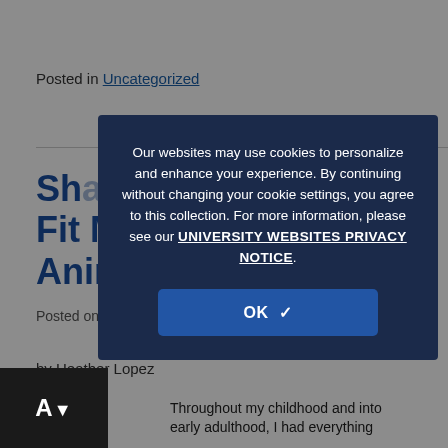Posted in Uncategorized
Shaping My Classes to Fit My Students: Animal...
Posted on December 11, 2...
by Heather Lopez
Throughout my childhood and into early adulthood, I had everything...
Our websites may use cookies to personalize and enhance your experience. By continuing without changing your cookie settings, you agree to this collection. For more information, please see our UNIVERSITY WEBSITES PRIVACY NOTICE.
OK ✓